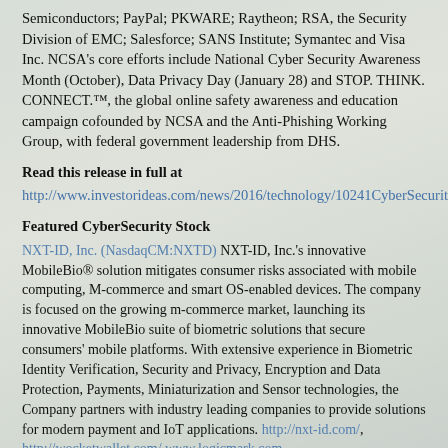Semiconductors; PayPal; PKWARE; Raytheon; RSA, the Security Division of EMC; Salesforce; SANS Institute; Symantec and Visa Inc. NCSA's core efforts include National Cyber Security Awareness Month (October), Data Privacy Day (January 28) and STOP. THINK. CONNECT.™, the global online safety awareness and education campaign cofounded by NCSA and the Anti-Phishing Working Group, with federal government leadership from DHS.
Read this release in full at
http://www.investorideas.com/news/2016/technology/10241CyberSecurity.asp
Featured CyberSecurity Stock
NXT-ID, Inc. (NasdaqCM:NXTD) NXT-ID, Inc.'s innovative MobileBio® solution mitigates consumer risks associated with mobile computing, M-commerce and smart OS-enabled devices. The company is focused on the growing m-commerce market, launching its innovative MobileBio suite of biometric solutions that secure consumers' mobile platforms. With extensive experience in Biometric Identity Verification, Security and Privacy, Encryption and Data Protection, Payments, Miniaturization and Sensor technologies, the Company partners with industry leading companies to provide solutions for modern payment and IoT applications. http://nxt-id.com/, http://wocketwallet.com/ www.logicmark.com.